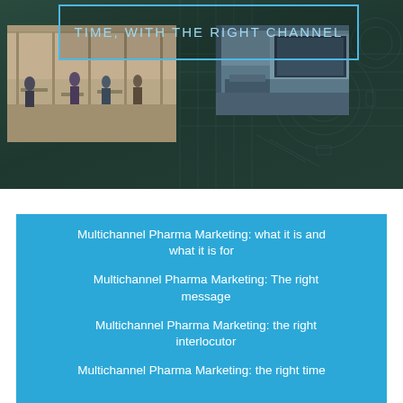[Figure (photo): Hero banner with dark teal/green background, blueprint technical overlay pattern, two photo panels showing office/building interiors with people, and a blue-bordered title box with text 'TIME, WITH THE RIGHT CHANNEL' in light blue uppercase letters]
Multichannel Pharma Marketing: what it is and what it is for
Multichannel Pharma Marketing: The right message
Multichannel Pharma Marketing: the right interlocutor
Multichannel Pharma Marketing: the right time